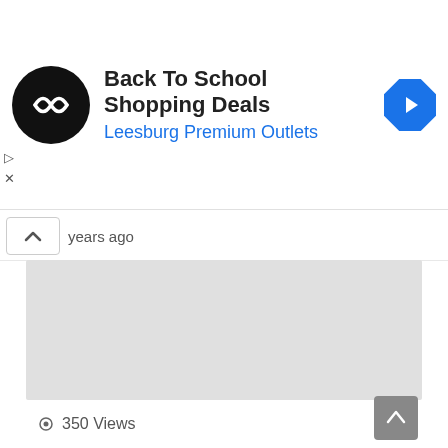[Figure (screenshot): Advertisement banner with logo circle, title 'Back To School Shopping Deals', sponsor 'Leesburg Premium Outlets', and blue navigation diamond icon]
Back To School Shopping Deals
Leesburg Premium Outlets
years ago
[Figure (other): Gray placeholder content area]
350 Views